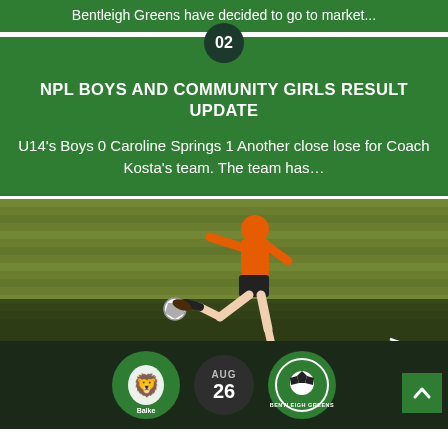Bentleigh Greens have decided to go to market...
02
NPL BOYS AND COMMUNITY GIRLS RESULT UPDATE
U14's Boys 0 Caroline Springs 1 Another close lose for Coach Kosta's team. The team has...
[Figure (photo): Soccer player in orange jersey kicking a ball on a grass field, with FULL-TIME text overlay and team badges showing AUG 26 at the bottom]